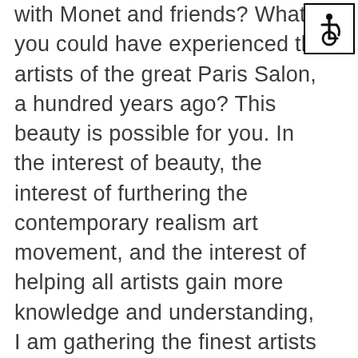with Monet and friends? What if you could have experienced the artists of the great Paris Salon, a hundred years ago? This beauty is possible for you. In the interest of beauty, the interest of furthering the contemporary realism art movement, and the interest of helping all artists gain more knowledge and understanding, I am gathering the finest artists in the world for a few days in November. You can come and experience this firsthand, and sit in the cafes of Williamsburg with artists who will become or already are famous. You can watch them paint, hear their philosophies, discover how to do it
[Figure (illustration): International Symbol of Access (wheelchair accessibility icon) — a stylized person in a wheelchair, black on white, inside a square border.]